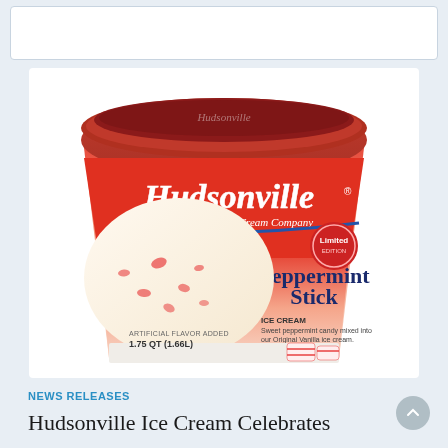[Figure (photo): Hudsonville Peppermint Stick Ice Cream container, 1.75 QT (1.66L), showing a red and white tub with a scoop of vanilla ice cream with peppermint candy pieces, labeled as Limited edition, Artificial Flavor Added, Creamery & Ice Cream Company]
NEWS RELEASES
Hudsonville Ice Cream Celebrates